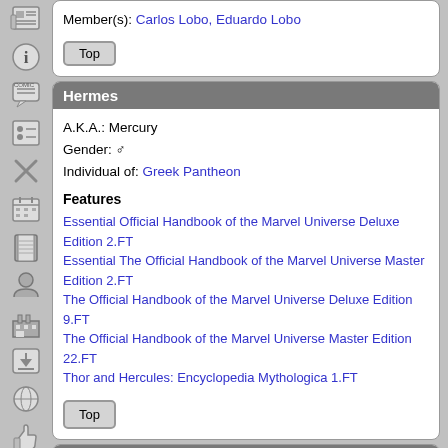Member(s): Carlos Lobo, Eduardo Lobo
Top
Hermes
A.K.A.: Mercury
Gender: ♂
Individual of: Greek Pantheon
Features
Essential Official Handbook of the Marvel Universe Deluxe Edition 2.FT
Essential The Official Handbook of the Marvel Universe Master Edition 2.FT
The Official Handbook of the Marvel Universe Deluxe Edition 9.FT
The Official Handbook of the Marvel Universe Master Edition 22.FT
Thor and Hercules: Encyclopedia Mythologica 1.FT
Top
Hermod
A.K.A.: God of Speed
Gender: ♂